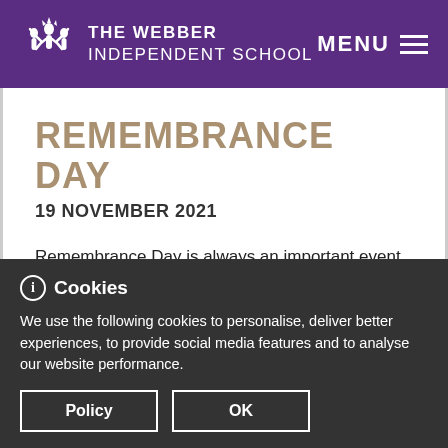THE WEBBER INDEPENDENT SCHOOL — MENU
REMEMBRANCE DAY
19 NOVEMBER 2021
Remembrance Day is always an important event in The Webber calendar during Term 1.
Read more
Cookies
We use the following cookies to personalise, deliver better experiences, to provide social media features and to analyse our website performance.
Policy   OK